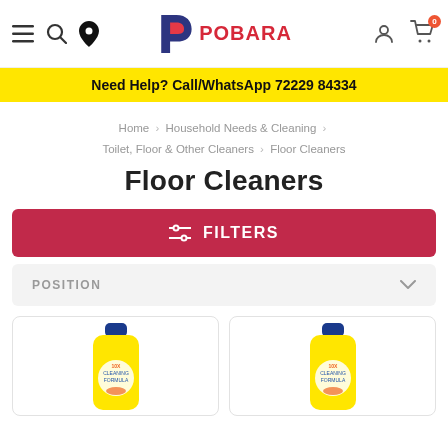POBARA – Navigation header with menu, search, location, logo, account, and cart icons
Need Help? Call/WhatsApp 72229 84334
Home > Household Needs & Cleaning > Toilet, Floor & Other Cleaners > Floor Cleaners
Floor Cleaners
FILTERS
POSITION
[Figure (photo): Product card 1: Yellow floor cleaner bottle (Lizol-style) with blue cap]
[Figure (photo): Product card 2: Yellow floor cleaner bottle (Lizol-style) with blue cap]